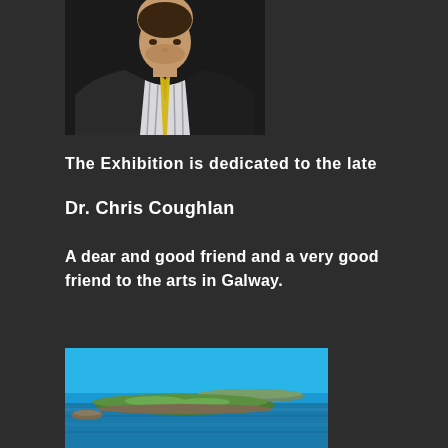[Figure (photo): Portrait photo of a man wearing a dark suit jacket, striped shirt, and yellow tie, cropped from chest upward against a dark background.]
The Exhibition is dedicated to the late
Dr. Chris Coughlan
A dear and good friend and a very good friend to the arts in Galway.
[Figure (photo): Painting of an island landscape with green land mass against a bright blue sky and blue water; appears to be an aerial or seascape view of an Irish island.]